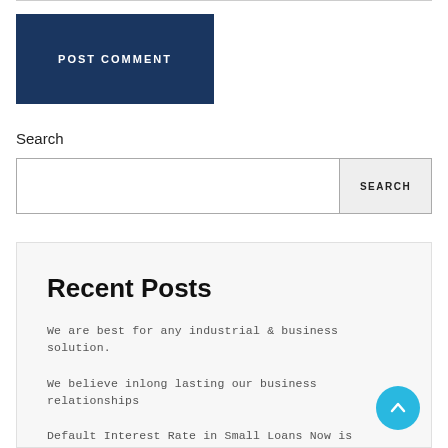POST COMMENT
Search
Recent Posts
We are best for any industrial & business solution.
We believe inlong lasting our business relationships
Default Interest Rate in Small Loans Now is Lowest